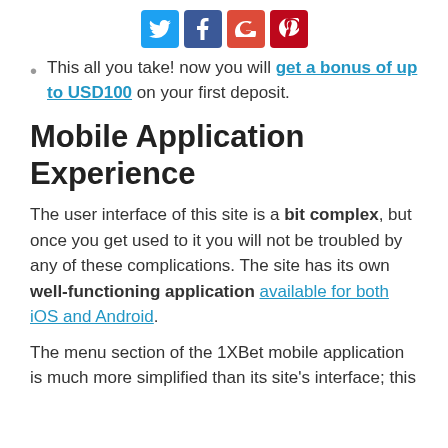[Social share icons: Twitter, Facebook, Google+, Pinterest]
This all you take! now you will get a bonus of up to USD100 on your first deposit.
Mobile Application Experience
The user interface of this site is a bit complex, but once you get used to it you will not be troubled by any of these complications. The site has its own well-functioning application available for both iOS and Android.
The menu section of the 1XBet mobile application is much more simplified than its site's interface; this